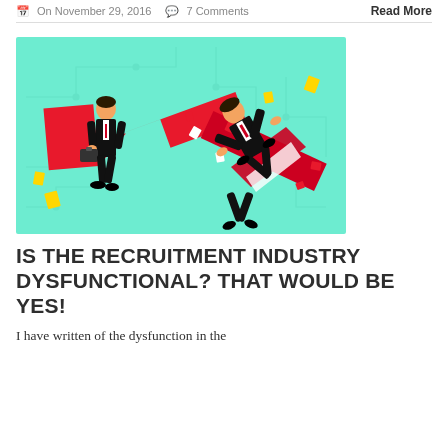On November 29, 2016   7 Comments   Read More
[Figure (illustration): Illustration of two businessmen in black suits with a red downward stock chart arrow; one man is standing holding a briefcase, the other is falling amid the crashing chart, with yellow and red paper pieces flying around, on a teal/mint background with circuit-like patterns.]
IS THE RECRUITMENT INDUSTRY DYSFUNCTIONAL? THAT WOULD BE YES!
I have written of the dysfunction in the